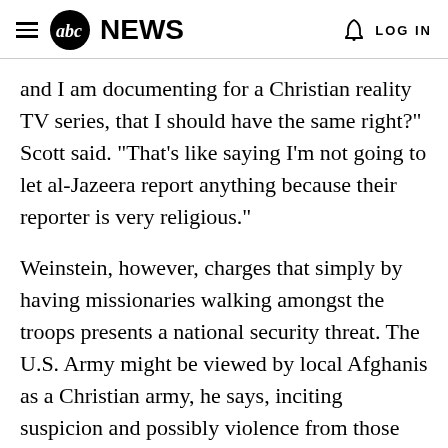abc NEWS  LOG IN
and I am documenting for a Christian reality TV series, that I should have the same right?" Scott said. "That's like saying I'm not going to let al-Jazeera report anything because their reporter is very religious."
Weinstein, however, charges that simply by having missionaries walking amongst the troops presents a national security threat. The U.S. Army might be viewed by local Afghanis as a Christian army, he says, inciting suspicion and possibly violence from those who view that as a threat to Islam. "That is what our fight is about," Weinstein says. "It's wrong and